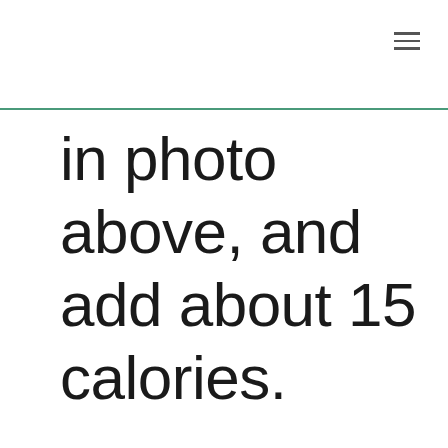in photo above, and add about 15 calories.
*Use a brand without milk, if possible